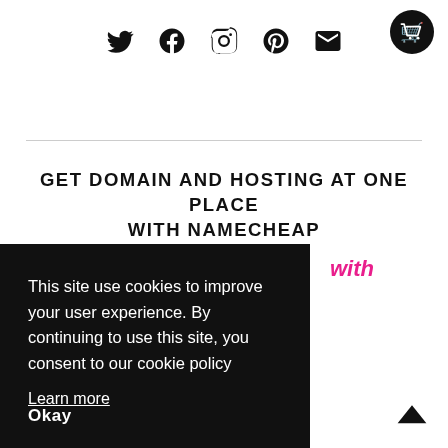[Figure (illustration): Social media icons: Twitter, Facebook, Instagram, Pinterest, Email]
[Figure (illustration): Shopping cart icon in top right corner]
GET DOMAIN AND HOSTING AT ONE PLACE WITH NAMECHEAP
with
This site use cookies to improve your user experience. By continuing to use this site, you consent to our cookie policy
Learn more
Okay
[Figure (illustration): Scroll-to-top arrow icon in bottom right]